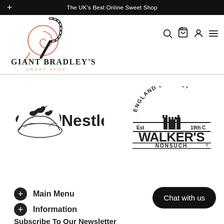The UK's Best Online Sweet Shop
[Figure (logo): Giant Bradley's Sweet Shop logo with lollipop and candy cane illustration]
[Figure (logo): Navigation icons: search, cart (0), account, menu]
[Figure (logo): Nestle brand logo]
[Figure (logo): Walker's Nonsuch - England's Finest Est 19th C brand logo]
+ Main Menu
+ Information
Subscribe To Our Newsletter
Chat with us